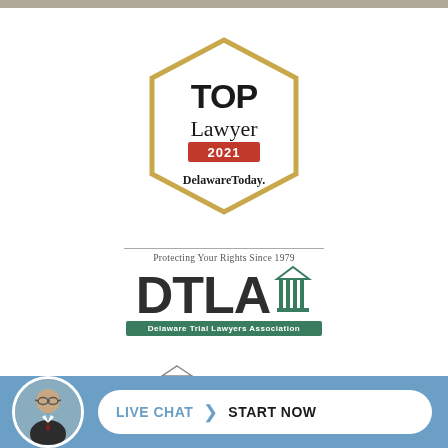[Figure (logo): Top Lawyer 2021 Delaware Today hexagon badge]
[Figure (logo): DTLA Delaware Trial Lawyers Association logo with tagline Protecting Your Rights Since 1979]
[Figure (logo): American Association partial logo with scales of justice icon]
[Figure (other): Live Chat Start Now button bar with attorney avatar photo at bottom of page]